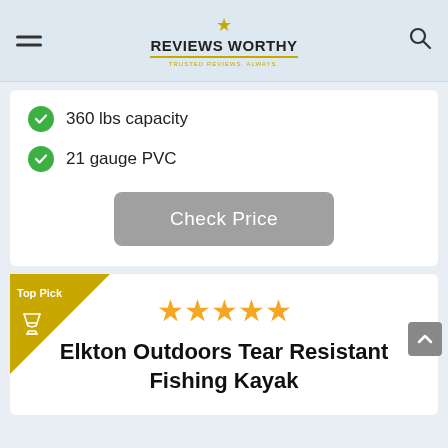Reviews Worthy — Trusted Reviews, Always
360 lbs capacity
21 gauge PVC
Check Price
Top Pick
★★★★★
Elkton Outdoors Tear Resistant Fishing Kayak